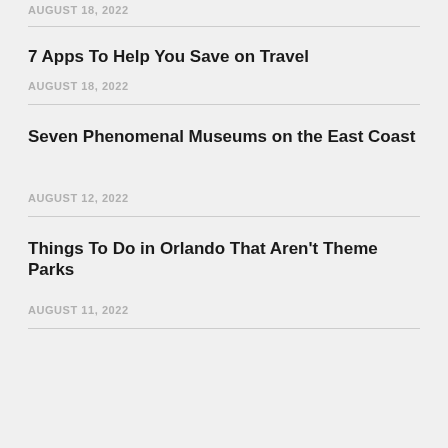AUGUST 18, 2022
7 Apps To Help You Save on Travel
AUGUST 18, 2022
Seven Phenomenal Museums on the East Coast
AUGUST 12, 2022
Things To Do in Orlando That Aren't Theme Parks
AUGUST 11, 2022